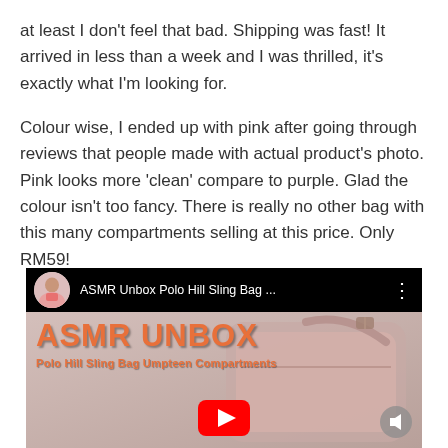at least I don't feel that bad. Shipping was fast! It arrived in less than a week and I was thrilled, it's exactly what I'm looking for.
Colour wise, I ended up with pink after going through reviews that people made with actual product's photo. Pink looks more 'clean' compare to purple. Glad the colour isn't too fancy. There is really no other bag with this many compartments selling at this price. Only RM59!
[Figure (screenshot): YouTube video thumbnail showing 'ASMR Unbox Polo Hill Sling Bag ...' with channel avatar of a woman in pink dress, with large orange text 'ASMR UNBOX' and subtitle 'Polo Hill Sling Bag Umpteen Compartments' overlaid on a pink sling bag product image. A YouTube play button is visible at the bottom center.]